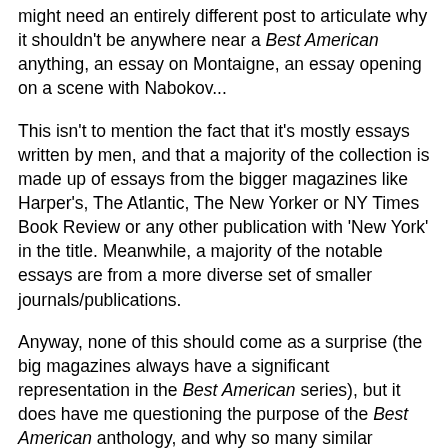might need an entirely different post to articulate why it shouldn't be anywhere near a Best American anything, an essay on Montaigne, an essay opening on a scene with Nabokov...
This isn't to mention the fact that it's mostly essays written by men, and that a majority of the collection is made up of essays from the bigger magazines like Harper's, The Atlantic, The New Yorker or NY Times Book Review or any other publication with 'New York' in the title. Meanwhile, a majority of the notable essays are from a more diverse set of smaller journals/publications.
Anyway, none of this should come as a surprise (the big magazines always have a significant representation in the Best American series), but it does have me questioning the purpose of the Best American anthology, and why so many similar essays would be put into a collection where there were a lot of opportunities for a variety of voices and content. Here's a couple theories:
1) In my mind, the anthology should be a venue for highlighting the diversity of essays in terms of style and...